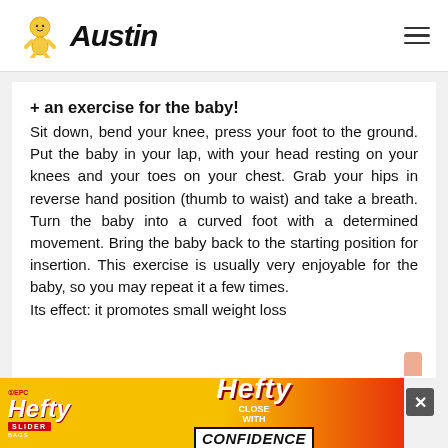Austin
+ an exercise for the baby!
Sit down, bend your knee, press your foot to the ground. Put the baby in your lap, with your head resting on your knees and your toes on your chest. Grab your hips in reverse hand position (thumb to waist) and take a breath. Turn the baby into a curved foot with a determined movement. Bring the baby back to the starting position for insertion. This exercise is usually very enjoyable for the baby, so you may repeat it a few times.
Its effect: it promotes small weight loss
[Figure (infographic): Hefty Slider bag advertisement banner with yellow and red background, Hefty logo, 'CLOSE WITH CONFIDENCE' text]